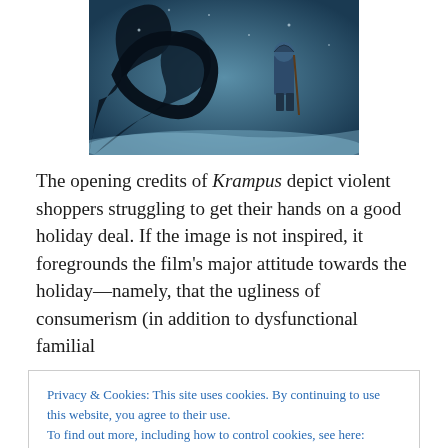[Figure (photo): A dark blue-toned movie still showing a person in winter clothing walking in snow, with large dark tentacle-like shapes in the foreground, from the movie Krampus.]
The opening credits of Krampus depict violent shoppers struggling to get their hands on a good holiday deal. If the image is not inspired, it foregrounds the film's major attitude towards the holiday—namely, that the ugliness of consumerism (in addition to dysfunctional familial
Privacy & Cookies: This site uses cookies. By continuing to use this website, you agree to their use.
To find out more, including how to control cookies, see here: Cookie Policy
wrong-doings, but because they aren't meeting the